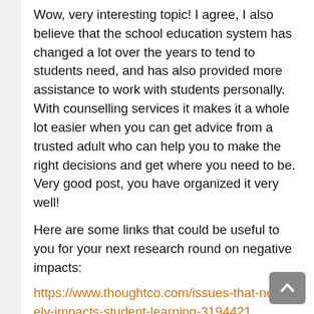Wow, very interesting topic! I agree, I also believe that the school education system has changed a lot over the years to tend to students need, and has also provided more assistance to work with students personally. With counselling services it makes it a whole lot easier when you can get advice from a trusted adult who can help you to make the right decisions and get where you need to be. Very good post, you have organized it very well!
Here are some links that could be useful to you for your next research round on negative impacts:
https://www.thoughtco.com/issues-that-negatively-impacts-student-learning-3194421
https://esrc.ukri.org/news-events-and-